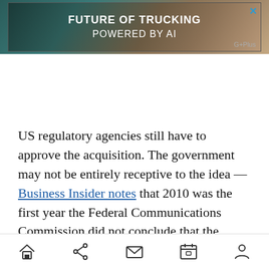[Figure (other): Advertisement banner: truck in desert landscape with text 'FUTURE OF TRUCKING POWERED BY AI' and G+Plus logo]
US regulatory agencies still have to approve the acquisition. The government may not be entirely receptive to the idea — Business Insider notes that 2010 was the first year the Federal Communications Commission did not conclude that the wireless industry was competitive, although Wireless Industry News reports that the FCC may go back to calling the industry competitive this year. AT&T tries to address
[Figure (other): Mobile navigation bar with icons: home, share, mail, calendar, profile]